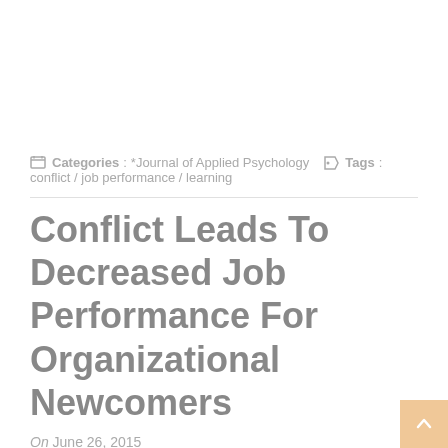Categories : *Journal of Applied Psychology   Tags : conflict / job performance / learning
Conflict Leads To Decreased Job Performance For Organizational Newcomers
On June 26, 2015
Researchers find that conflict leads new employees to seek less information about their jobs and results in decreased job performance.